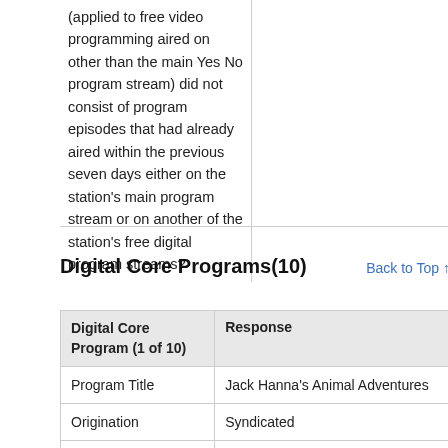(applied to free video programming aired on other than the main Yes No program stream) did not consist of program episodes that had already aired within the previous seven days either on the station's main program stream or on another of the station's free digital program streams?
Digital Core Programs(10)
Back to Top ↑
| Digital Core Program (1 of 10) | Response |
| --- | --- |
| Program Title | Jack Hanna's Animal Adventures |
| Origination | Syndicated |
| Days/Times | Saturdays @ 11am |